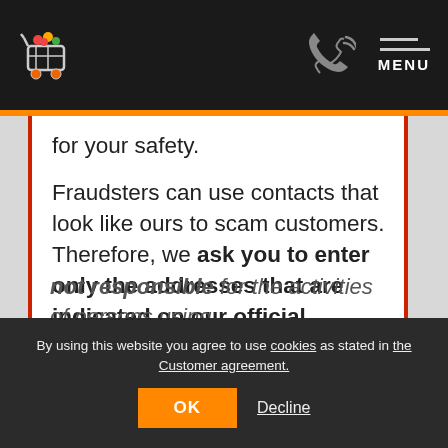MENU
for your safety.
Fraudsters can use contacts that look like ours to scam customers. Therefore, we ask you to enter only the addresses that are indicated on our official website.
Be careful! Our team is not responsible for the activities of persons using
By using this website you agree to use cookies as stated in the Customer agreement.